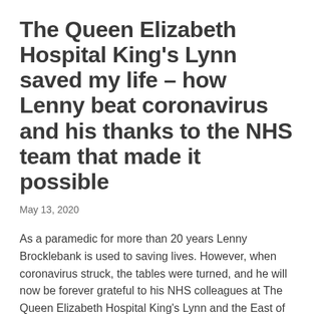The Queen Elizabeth Hospital King's Lynn saved my life – how Lenny beat coronavirus and his thanks to the NHS team that made it possible
May 13, 2020
As a paramedic for more than 20 years Lenny Brocklebank is used to saving lives. However, when coronavirus struck, the tables were turned, and he will now be forever grateful to his NHS colleagues at The Queen Elizabeth Hospital King's Lynn and the East of England Ambulance Service who stepped in to